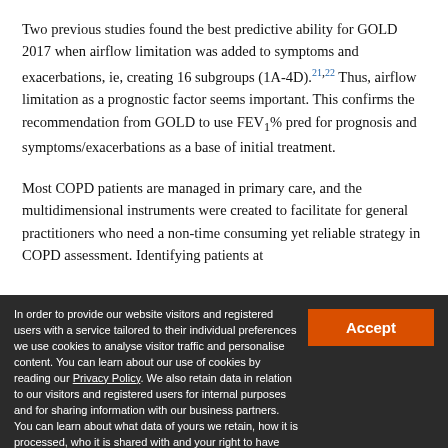Two previous studies found the best predictive ability for GOLD 2017 when airflow limitation was added to symptoms and exacerbations, ie, creating 16 subgroups (1A-4D).21,22 Thus, airflow limitation as a prognostic factor seems important. This confirms the recommendation from GOLD to use FEV1% pred for prognosis and symptoms/exacerbations as a base of initial treatment.
Most COPD patients are managed in primary care, and the multidimensional instruments were created to facilitate for general practitioners who need a non-time consuming yet reliable strategy in COPD assessment. Identifying patients at
In order to provide our website visitors and registered users with a service tailored to their individual preferences we use cookies to analyse visitor traffic and personalise content. You can learn about our use of cookies by reading our Privacy Policy. We also retain data in relation to our visitors and registered users for internal purposes and for sharing information with our business partners. You can learn about what data of yours we retain, how it is processed, who it is shared with and your right to have your data deleted by reading our Privacy Policy. If you agree to our use of cookies and the contents of our Privacy Policy please click 'accept'.